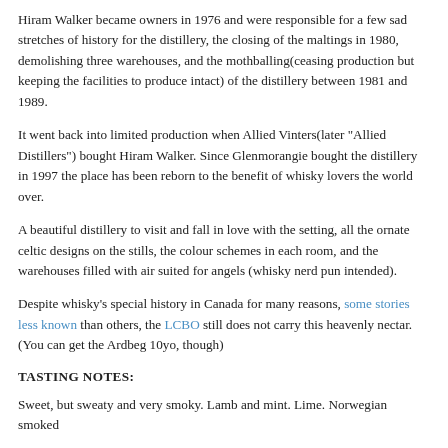Hiram Walker became owners in 1976 and were responsible for a few sad stretches of history for the distillery, the closing of the maltings in 1980, demolishing three warehouses, and the mothballing(ceasing production but keeping the facilities to produce intact) of the distillery between 1981 and 1989.
It went back into limited production when Allied Vinters(later "Allied Distillers") bought Hiram Walker. Since Glenmorangie bought the distillery in 1997 the place has been reborn to the benefit of whisky lovers the world over.
A beautiful distillery to visit and fall in love with the setting, all the ornate celtic designs on the stills, the colour schemes in each room, and the warehouses filled with air suited for angels (whisky nerd pun intended).
Despite whisky's special history in Canada for many reasons, some stories less known than others, the LCBO still does not carry this heavenly nectar. (You can get the Ardbeg 10yo, though)
TASTING NOTES:
Sweet, but sweaty and very smoky. Lamb and mint. Lime. Norwegian smoked